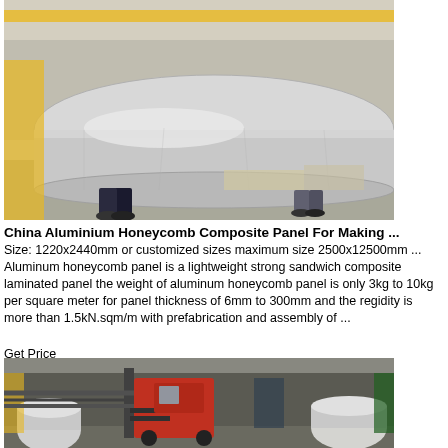[Figure (photo): Two workers carrying a large cylindrical roll of aluminum material wrapped in silver film inside an industrial warehouse facility.]
China Aluminium Honeycomb Composite Panel For Making ...
Size: 1220x2440mm or customized sizes maximum size 2500x12500mm ... Aluminum honeycomb panel is a lightweight strong sandwich composite laminated panel the weight of aluminum honeycomb panel is only 3kg to 10kg per square meter for panel thickness of 6mm to 300mm and the regidity is more than 1.5kN.sqm/m with prefabrication and assembly of ...
Get Price
[Figure (photo): Industrial forklift in a manufacturing facility carrying large rolls of aluminum material, with factory equipment visible in the background.]